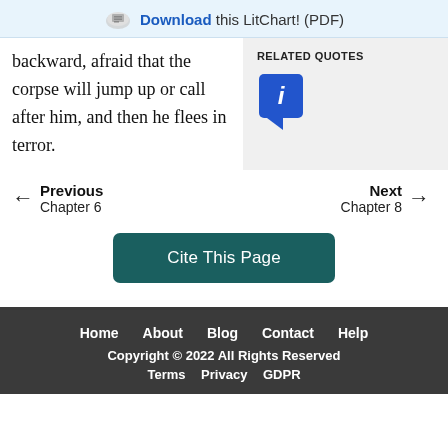Download this LitChart! (PDF)
backward, afraid that the corpse will jump up or call after him, and then he flees in terror.
RELATED QUOTES
[Figure (other): Blue info/quote bubble icon with letter i]
Previous
Chapter 6
Next
Chapter 8
Cite This Page
Home About Blog Contact Help
Copyright © 2022 All Rights Reserved
Terms Privacy GDPR